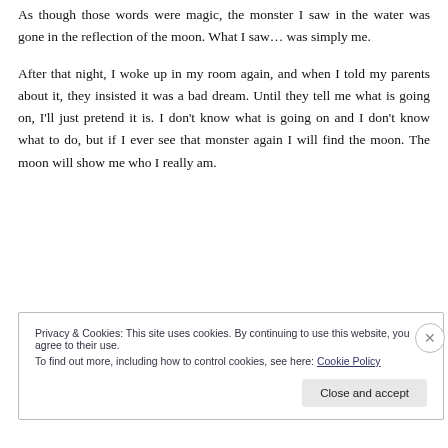As though those words were magic, the monster I saw in the water was gone in the reflection of the moon. What I saw… was simply me.
After that night, I woke up in my room again, and when I told my parents about it, they insisted it was a bad dream. Until they tell me what is going on, I'll just pretend it is. I don't know what is going on and I don't know what to do, but if I ever see that monster again I will find the moon. The moon will show me who I really am.
Privacy & Cookies: This site uses cookies. By continuing to use this website, you agree to their use. To find out more, including how to control cookies, see here: Cookie Policy